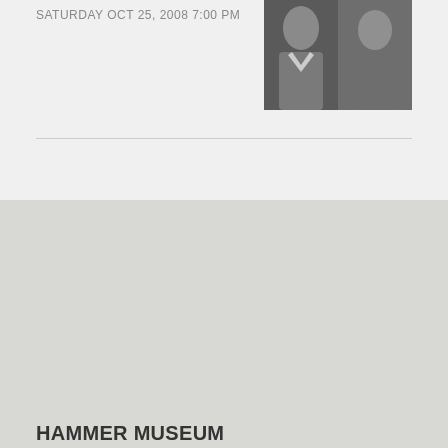SATURDAY OCT 25, 2008 7:00 PM
[Figure (photo): Black and white photo of two men side by side]
HAMMER MUSEUM
Free for good
10899 Wilshire Blvd.
Los Angeles, CA
90024

(310) 443-7000
info@hammer.ucla.edu
Art & Ideas
About Us